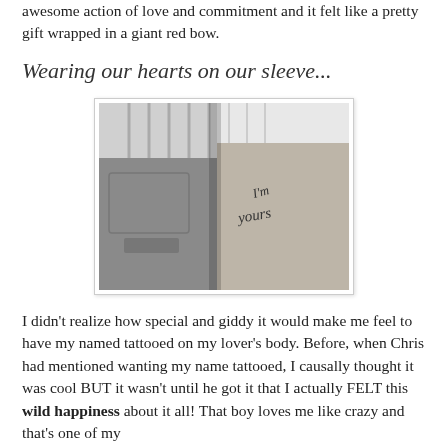awesome action of love and commitment and it felt like a pretty gift wrapped in a giant red bow.
Wearing our hearts on our sleeve...
[Figure (photo): Black and white photo showing two people standing close together, one wearing jeans and the other showing a forearm/leg with a cursive tattoo reading what appears to be 'I'm yours' or similar text.]
I didn't realize how special and giddy it would make me feel to have my named tattooed on my lover's body. Before, when Chris had mentioned wanting my name tattooed, I causally thought it was cool BUT it wasn't until he got it that I actually FELT this wild happiness about it all! That boy loves me like crazy and that's one of my